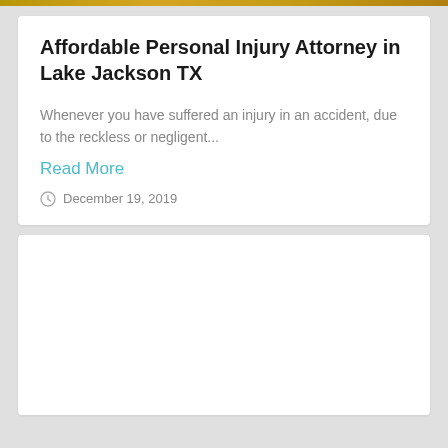Affordable Personal Injury Attorney in Lake Jackson TX
Whenever you have suffered an injury in an accident, due to the reckless or negligent...
Read More
December 19, 2019
[Figure (other): Empty white card area below the article card]